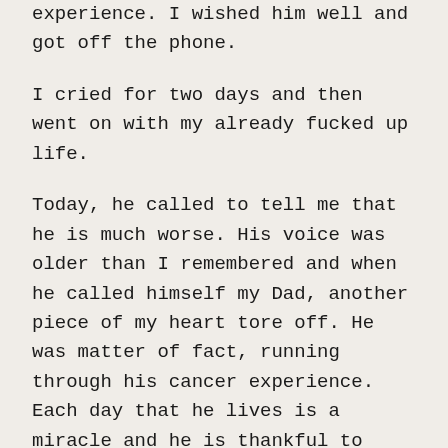experience. I wished him well and got off the phone.
I cried for two days and then went on with my already fucked up life.
Today, he called to tell me that he is much worse. His voice was older than I remembered and when he called himself my Dad, another piece of my heart tore off. He was matter of fact, running through his cancer experience. Each day that he lives is a miracle and he is thankful to Jesus for that. He has help and people are caring for him. It is, what it is, he repeated so many times that I realized he was trying to convince himself, not me.
I waited for him to finish and then I told him what I have never said. Speaking of Jesus, I began. At the end of what I told him, which I will not share here, I told him that I forgave him and that I loved him and that I am so sorry that he is going through this. My voice